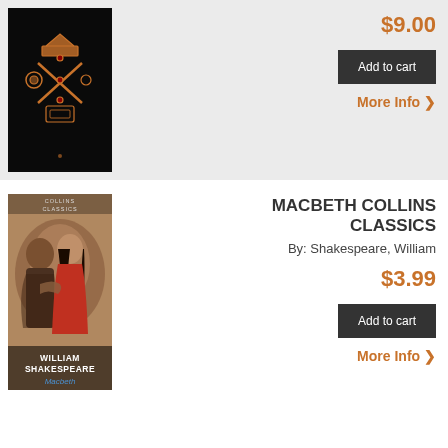[Figure (illustration): Book cover 1: dark/black cover with ornate crown and crossed scepters design in gold]
$9.00
Add to cart
More Info >
[Figure (illustration): Book cover: Collins Classics Macbeth by William Shakespeare, showing a man and woman in medieval dress]
MACBETH COLLINS CLASSICS
By: Shakespeare, William
$3.99
Add to cart
More Info >